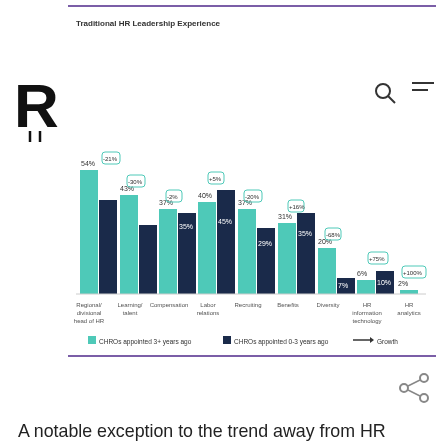[Figure (grouped-bar-chart): Traditional HR Leadership Experience]
A notable exception to the trend away from HR leadership roles for CHROs is the uptick we observe in those leading HR Information Technology efforts. While the numbers are still small, this increase likely highlights the growing emphasis many organizations now place on HRIT systems, such as employee information databases, payroll systems, benefit administration, and performance support tools. If so, it is likely that an increase in HR